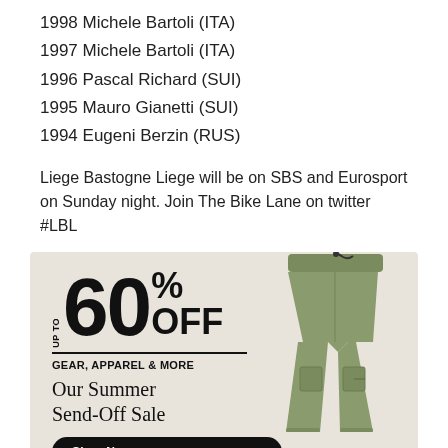1998 Michele Bartoli (ITA)
1997 Michele Bartoli (ITA)
1996 Pascal Richard (SUI)
1995 Mauro Gianetti (SUI)
1994 Eugeni Berzin (RUS)
Liege Bastogne Liege will be on SBS and Eurosport on Sunday night. Join The Bike Lane on twitter #LBL
[Figure (infographic): Advertisement banner: UP TO 60% OFF GEAR, APPAREL & MORE. Our Summer Send-Off Sale. Shop Now button. Image of olive/green cargo pants on the right side.]